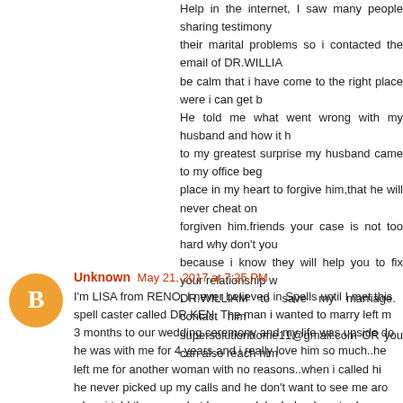Help in the internet, I saw many people sharing testimony about their marital problems so i contacted the email of DR.WILLIAM be calm that i have come to the right place were i can get b He told me what went wrong with my husband and how it h to my greatest surprise my husband came to my office beg place in my heart to forgive him,that he will never cheat on forgiven him.friends your case is not too hard why don't you because i know they will help you to fix your relationship w DR.WILLIAM to save my marriage. contact him supersolutionhome11@gmail.com OR you can also reach him
Unknown May 21, 2017 at 7:25 PM
I'm LISA from RENO, I never believed in Spells until I met this spell caster called DR KEN. The man i wanted to marry left m 3 months to our wedding ceremony and my life was upside do he was with me for 4 years and i really love him so much..he left me for another woman with no reasons..when i called hi he never picked up my calls and he don't want to see me aro when i told the man what happened. he helped me to do som and after the readings he made me to realize that the other w done some spells over my Husband and that is the reason wh .he told me he will help me to cast a spell to bring him back.. i was skeptical but i just gave it a try...In 4 days, My Husband c himself and came to me apologizing..I cant believe he can ev to me again but now i am happy he's back and we are married live on a happy family. Am posting this to the forum if so